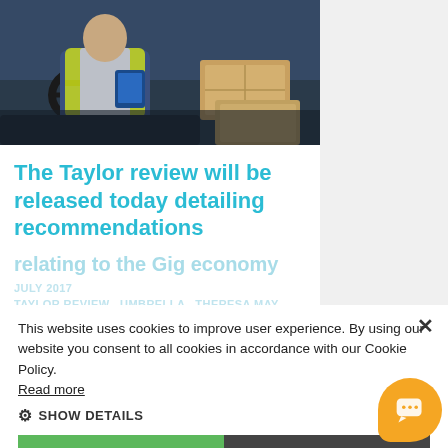[Figure (photo): Delivery driver in yellow high-visibility vest sitting in a vehicle cab, holding a clipboard or device, with cardboard boxes visible in the background]
The Taylor review will be released today detailing recommendations
relating to the Gig economy
JULY 2017
TAYLOR REVIEW UMBRELLA THERESA MAY
This website uses cookies to improve user experience. By using our website you consent to all cookies in accordance with our Cookie Policy. Read more
SHOW DETAILS
ACCEPT ALL
DECLINE ALL